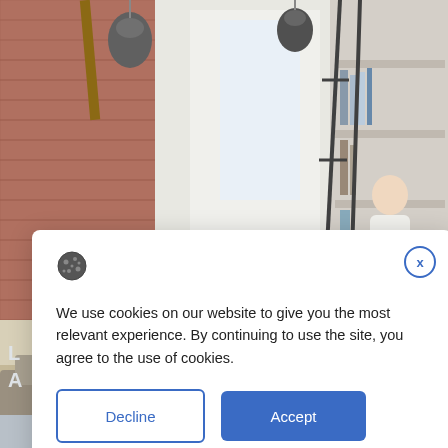[Figure (photo): Interior room photo showing modern apartment living space with brick wall, pendant lights, bookshelves, and a woman in white blouse and maroon skirt standing near a ladder bookshelf]
We use cookies on our website to give you the most relevant experience. By continuing to use the site, you agree to the use of cookies.
Decline
Accept